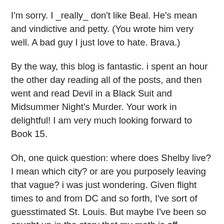I'm sorry. I _really_ don't like Beal. He's mean and vindictive and petty. (You wrote him very well. A bad guy I just love to hate. Brava.)
By the way, this blog is fantastic. i spent an hour the other day reading all of the posts, and then went and read Devil in a Black Suit and Midsummer Night's Murder. Your work in delightful! I am very much looking forward to Book 15.
Oh, one quick question: where does Shelby live? I mean which city? or are you purposely leaving that vague? i was just wondering. Given flight times to and from DC and so forth, I've sort of guesstimated St. Louis. But maybe I've been so caught up in the story that my math is off.